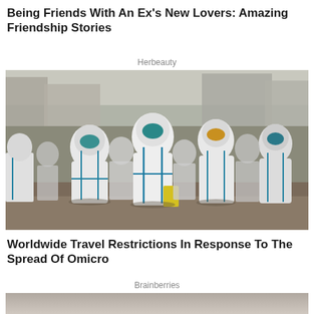Being Friends With An Ex's New Lovers: Amazing Friendship Stories
Herbeauty
[Figure (photo): Group of people in white hazmat suits with blue trim and face masks walking through an outdoor market or street area]
Worldwide Travel Restrictions In Response To The Spread Of Omicro
Brainberries
[Figure (photo): Partial image at bottom of page, appears to be another article thumbnail]